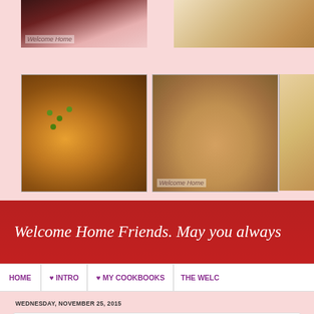[Figure (photo): Top-left food photo showing a dish with dark berry/cherry background and 'Welcome Home' watermark text]
[Figure (photo): Top-right food photo showing bread or biscuits, partially cropped]
[Figure (photo): Middle-left food photo showing loaded potato skins with cheese and green onions on a decorative plate]
[Figure (photo): Middle-center food photo showing pasta/spaghetti with fish and tomato sauce, with 'Welcome Home' watermark]
[Figure (photo): Middle-right food photo partially cropped, showing a baked item]
Welcome Home Friends. May you always
HOME | ♥ INTRO | ♥ MY COOKBOOKS | THE WELC...
WEDNESDAY, NOVEMBER 25, 2015
Black Cherry Cobbler Pie